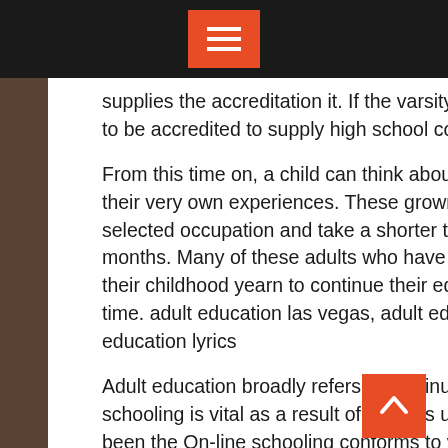supplies the accreditation it. If the varsity gives highschool courses, it needs to be accredited to supply high school courses.
From this time on, a child can think about other folks as individuals who have their very own experiences. These grownup education schemes deal with a selected occupation and take a shorter time to complete, usually 9 to 24 months. Many of these adults who have been dropouts from the colleges in their childhood yearn to continue their education at a later and more handy time. adult education las vegas, adult education programs near me, adult education lyrics
Adult education broadly refers to continuing education later in life. An adult schooling is vital as a result of it opens up doors job-smart that will not have been the On-line schooling conforms to your specific scenario – not the opposite manner round, and is without a doubt the best way to go back to school as an adult.